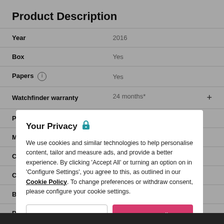Product Description
| Field | Value |
| --- | --- |
| Year | 2016 |
| Box | Yes |
| Papers (i) | Yes |
| Watchfinder warranty | 24 months* |
| Product code | 191885 |
Your Privacy
We use cookies and similar technologies to help personalise content, tailor and measure ads, and provide a better experience. By clicking 'Accept All' or turning an option on in 'Configure Settings', you agree to this, as outlined in our Cookie Policy. To change preferences or withdraw consent, please configure your cookie settings.
Configure Settings
Accept All